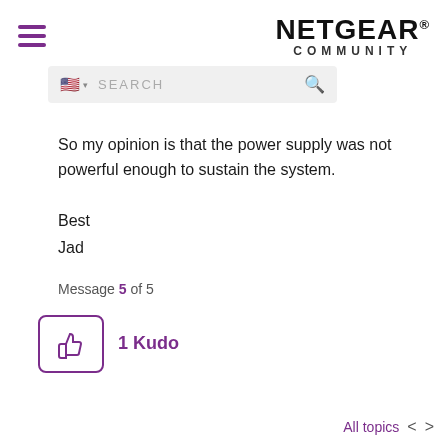NETGEAR® COMMUNITY
So my opinion is that the power supply was not powerful enough to sustain the system.
Best
Jad
Message 5 of 5
[Figure (illustration): Thumbs up icon in purple with '1 Kudo' label]
All topics < >